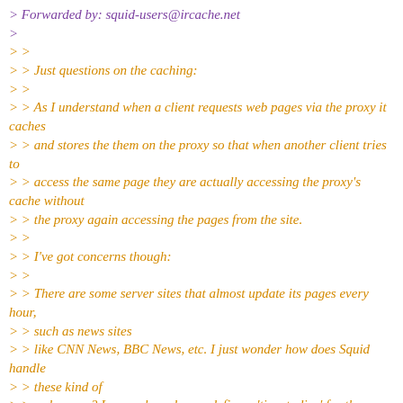> Forwarded by: squid-users@ircache.net
>
> >
> > Just questions on the caching:
> >
> > As I understand when a client requests web pages via the proxy it caches
> > and stores the them on the proxy so that when another client tries to
> > access the same page they are actually accessing the proxy's cache without
> > the proxy again accessing the pages from the site.
> >
> > I've got concerns though:
> >
> > There are some server sites that almost update its pages every hour,
> > such as news sites
> > like CNN News, BBC News, etc. I just wonder how does Squid handle
> > these kind of
> > web pages? I mean, how do you define a 'time to live' for these kind
> > of pages since
> > they change every now and then? For example, at 0700 hrs a